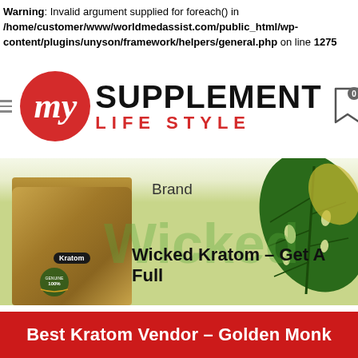Warning: Invalid argument supplied for foreach() in /home/customer/www/worldmedassist.com/public_html/wp-content/plugins/unyson/framework/helpers/general.php on line 1275
[Figure (logo): My Supplement Life Style logo with red circular badge containing stylized 'my' text, and bold black/red text reading SUPPLEMENT LIFE STYLE, with bookmark icon showing 0]
[Figure (photo): Banner with gold Kratom product bag on left, tropical leaf on right, 'Brand' text, green 'Wicked' watermark text, and heading 'Wicked Kratom – Get A Full']
Best Kratom Vendor – Golden Monk